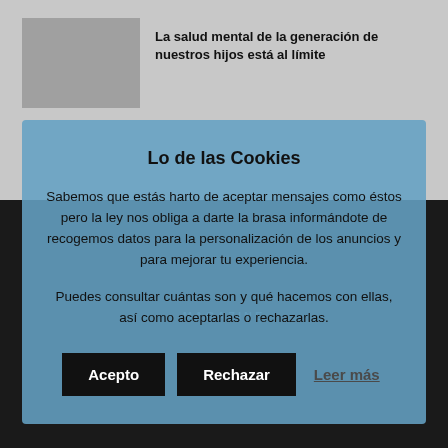La salud mental de la generación de nuestros hijos está al límite
Lo de las Cookies
Sabemos que estás harto de aceptar mensajes como éstos pero la ley nos obliga a darte la brasa informándote de recogemos datos para la personalización de los anuncios y para mejorar tu experiencia.
Puedes consultar cuántas son y qué hacemos con ellas, así como aceptarlas o rechazarlas.
Acepto | Rechazar | Leer más